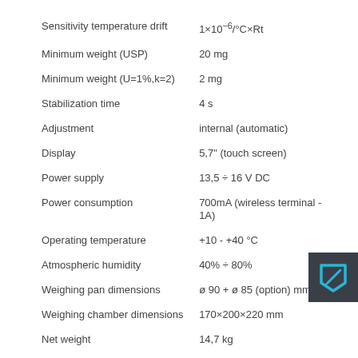| Sensitivity temperature drift | 1×10⁻⁶/°C×Rt |
| Minimum weight (USP) | 20 mg |
| Minimum weight (U=1%,k=2) | 2 mg |
| Stabilization time | 4 s |
| Adjustment | internal (automatic) |
| Display | 5,7" (touch screen) |
| Power supply | 13,5 ÷ 16 V DC |
| Power consumption | 700mA (wireless terminal - 1A) |
| Operating temperature | +10 - +40 °C |
| Atmospheric humidity | 40% ÷ 80% |
| Weighing pan dimensions | ø 90 + ø 85 (option) mm |
| Weighing chamber dimensions | 170×200×220 mm |
| Net weight | 14,7 kg |
| Gross weight | 19,1 kg |
[Figure (illustration): Dark grey square icon with a cyan/blue pen/edit symbol]